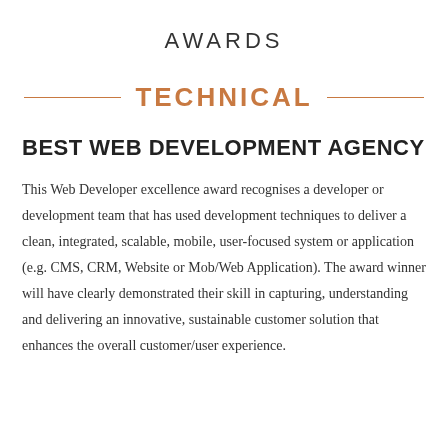AWARDS
TECHNICAL
BEST WEB DEVELOPMENT AGENCY
This Web Developer excellence award recognises a developer or development team that has used development techniques to deliver a clean, integrated, scalable, mobile, user-focused system or application (e.g. CMS, CRM, Website or Mob/Web Application). The award winner will have clearly demonstrated their skill in capturing, understanding and delivering an innovative, sustainable customer solution that enhances the overall customer/user experience.